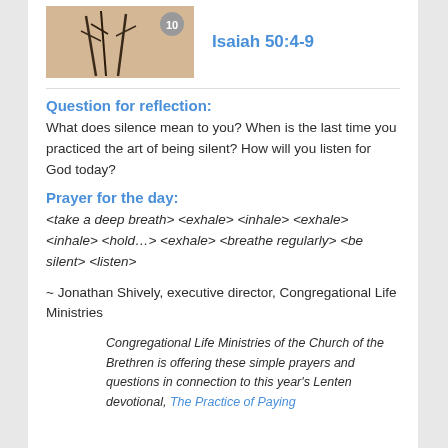[Figure (photo): Thumbnail image with number 10 badge, showing plant/nature scene in warm tones]
Isaiah 50:4-9
Question for reflection:
What does silence mean to you? When is the last time you practiced the art of being silent? How will you listen for God today?
Prayer for the day:
<take a deep breath> <exhale> <inhale> <exhale> <inhale> <hold…> <exhale> <breathe regularly> <be silent> <listen>
~ Jonathan Shively, executive director, Congregational Life Ministries
Congregational Life Ministries of the Church of the Brethren is offering these simple prayers and questions in connection to this year's Lenten devotional, The Practice of Paying